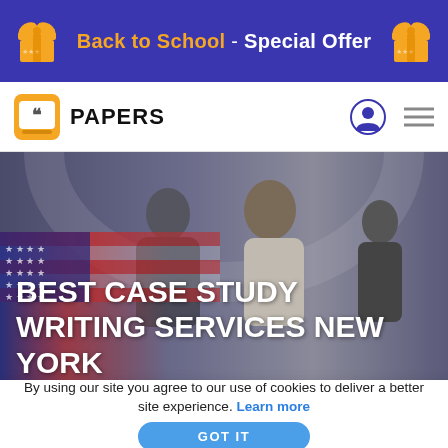Back to School - Special Offer
[Figure (logo): Papers.co logo with quotation marks icon and PAPERS text]
[Figure (photo): Hero background photo showing students with US flag overlay and text: BEST CASE STUDY WRITING SERVICES NEW YORK]
BEST CASE STUDY WRITING SERVICES NEW YORK
By using our site you agree to our use of cookies to deliver a better site experience. Learn more
GOT IT